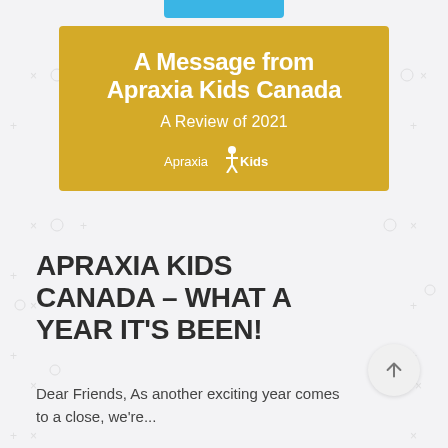[Figure (illustration): Yellow banner with white text reading 'A Message from Apraxia Kids Canada – A Review of 2021' and Apraxia Kids logo at bottom center]
APRAXIA KIDS CANADA – WHAT A YEAR IT'S BEEN!
Dear Friends, As another exciting year comes to a close, we're...